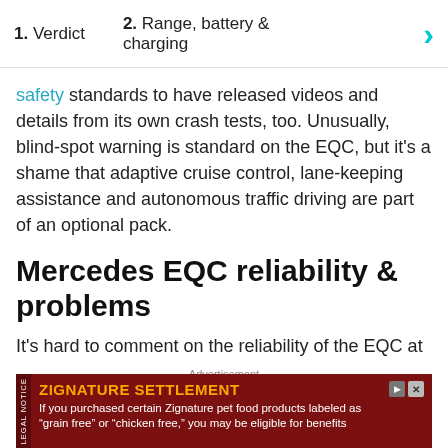1. Verdict   2. Range, battery & charging
safety standards to have released videos and details from its own crash tests, too. Unusually, blind-spot warning is standard on the EQC, but it’s a shame that adaptive cruise control, lane-keeping assistance and autonomous traffic driving are part of an optional pack.
Mercedes EQC reliability & problems
It’s hard to comment on the reliability of the EQC at this point. It shares much of its architecture with the Mercedes GLC, but its powertrain is an unknown
Advertisement
[Figure (infographic): Legal notice advertisement for Zignature Settlement: 'If you purchased certain Zignature pet food products labeled as “grain free” or “chicken free,” you may be eligible for benefits']